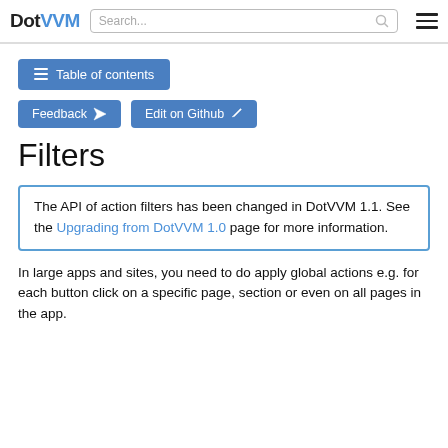DotVVM | Search... | [hamburger menu]
Table of contents
Feedback
Edit on Github
Filters
The API of action filters has been changed in DotVVM 1.1. See the Upgrading from DotVVM 1.0 page for more information.
In large apps and sites, you need to do apply global actions e.g. for each button click on a specific page, section or even on all pages in the app.